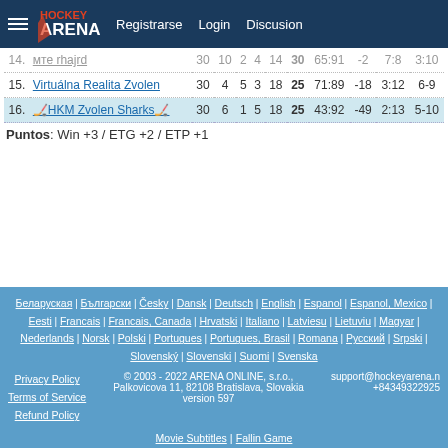Hockey Arena — Registrarse | Login | Discusion
| # | Team | GP | W | OTW | OTL | L | Pts | GD | +/- | HW | AW |
| --- | --- | --- | --- | --- | --- | --- | --- | --- | --- | --- | --- |
| 14. | мте rhajrd | 30 | 10 | 2 | 4 | 14 | 30 | 65:91 | -2 | 7:8 | 3:10 |
| 15. | Virtuálna Realita Zvolen | 30 | 4 | 5 | 3 | 18 | 25 | 71:89 | -18 | 3:12 | 6-9 |
| 16. | 🏒HKM Zvolen Sharks🏒 | 30 | 6 | 1 | 5 | 18 | 25 | 43:92 | -49 | 2:13 | 5-10 |
Puntos: Win +3 / ETG +2 / ETP +1
Беларуская | Български | Česky | Dansk | Deutsch | English | Espanol | Espanol, Mexico | Eesti | Francais | Francais, Canada | Hrvatski | Italiano | Latviesu | Lietuviu | Magyar | Nederlands | Norsk | Polski | Portugues | Portugues, Brasil | Romana | Русский | Srpski | Slovenský | Slovenski | Suomi | Svenska | Privacy Policy | Terms of Service | Refund Policy | © 2003 - 2022 ARENA ONLINE, s.r.o., Palkovicova 11, 82108 Bratislava, Slovakia | version 597 | support@hockeyarena.n | +84349322925 | Movie Subtitles | Fallin Game